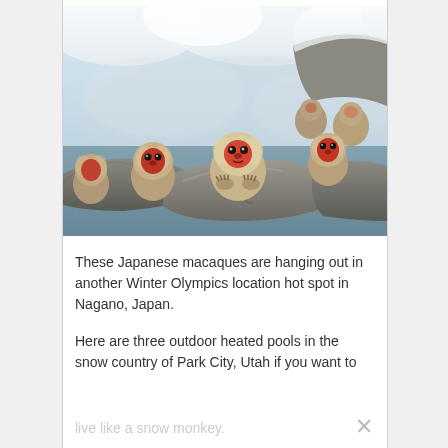[Figure (photo): Japanese macaques (snow monkeys) soaking in a hot spring with snowy rocks and misty background in Nagano, Japan. Several monkeys are visible sitting on rocks at the edge of the thermal pool, with snow-covered trees in the background.]
These Japanese macaques are hanging out in another Winter Olympics location hot spot in Nagano, Japan.
Here are three outdoor heated pools in the snow country of Park City, Utah if you want to live like a snow monkey.